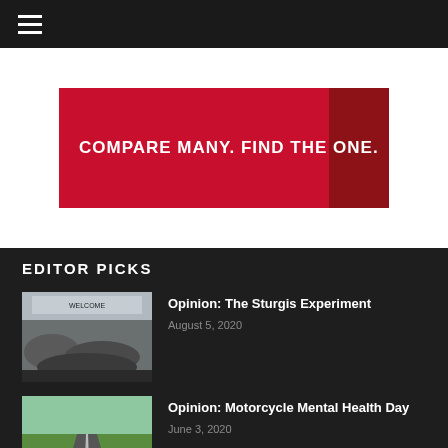≡ (hamburger menu)
[Figure (photo): Red advertisement banner with white bold text: COMPARE MANY. FIND THE ONE. against a dark background with motorcycle engine visible on the right side.]
EDITOR PICKS
[Figure (photo): Aerial view of crowded Sturgis motorcycle rally street with many motorcycles and people.]
Opinion: The Sturgis Experiment
August 5, 2020
[Figure (photo): Motorcycle rider's POV on a two-lane road through green countryside.]
Opinion: Motorcycle Mental Health Day
June 3, 2020